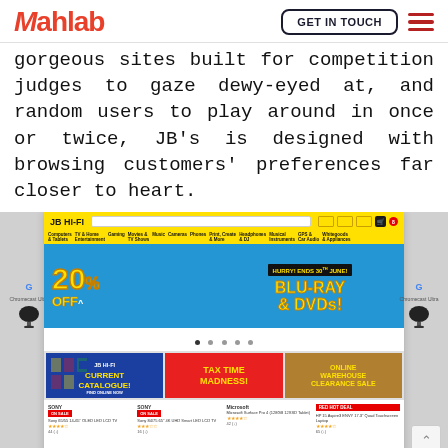[Figure (logo): Mahlab logo in red italic with GET IN TOUCH button and hamburger menu]
gorgeous sites built for competition judges to gaze dewy-eyed at, and random users to play around in once or twice, JB's is designed with browsing customers' preferences far closer to heart.
[Figure (screenshot): Screenshot of JB HI-FI website showing yellow header, 20% OFF BLU-RAY & DVDs banner, promotional sections for Current Catalogue, Tax Time Madness, Online Warehouse Clearance Sale, product listings, and Chromecast Ultra side panels]